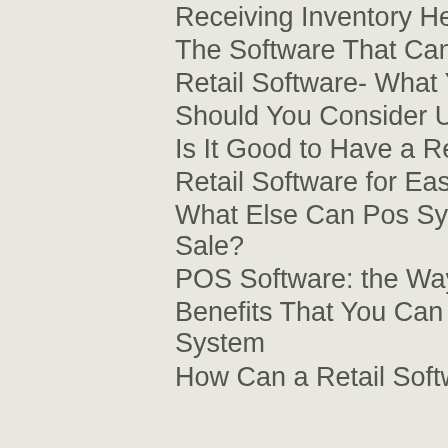Receiving Inventory Help From a Retail Software
The Software That Can Change Your Store
Retail Software- What You Must Have in Your Business
Should You Consider Using a Point of Sale System
Is It Good to Have a Restaurant Software System?
Retail Software for Easier Work Flow Process
What Else Can Pos System Do Aside From the Point of Sale?
POS Software: the Way of the Future
Benefits That You Can Get When You Have a Point of Sale System
How Can a Retail Software Help in Controlling Inventories?